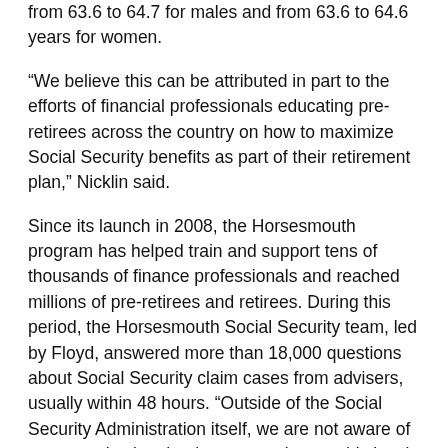from 63.6 to 64.7 for males and from 63.6 to 64.6 years for women.
“We believe this can be attributed in part to the efforts of financial professionals educating pre-retirees across the country on how to maximize Social Security benefits as part of their retirement plan,” Nicklin said.
Since its launch in 2008, the Horsesmouth program has helped train and support tens of thousands of finance professionals and reached millions of pre-retirees and retirees. During this period, the Horsesmouth Social Security team, led by Floyd, answered more than 18,000 questions about Social Security claim cases from advisers, usually within 48 hours. “Outside of the Social Security Administration itself, we are not aware of any organization that has come close to this level of thorough work in assisting counselors with complex client cases,” Nicklin said.
The Savvy Social Security Planning Difference